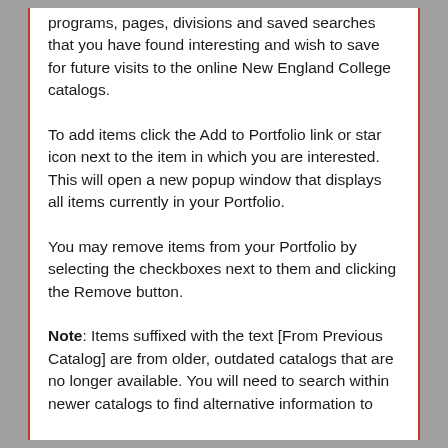programs, pages, divisions and saved searches that you have found interesting and wish to save for future visits to the online New England College catalogs.
To add items click the Add to Portfolio link or star icon next to the item in which you are interested. This will open a new popup window that displays all items currently in your Portfolio.
You may remove items from your Portfolio by selecting the checkboxes next to them and clicking the Remove button.
Note: Items suffixed with the text [From Previous Catalog] are from older, outdated catalogs that are no longer available. You will need to search within newer catalogs to find alternative information to